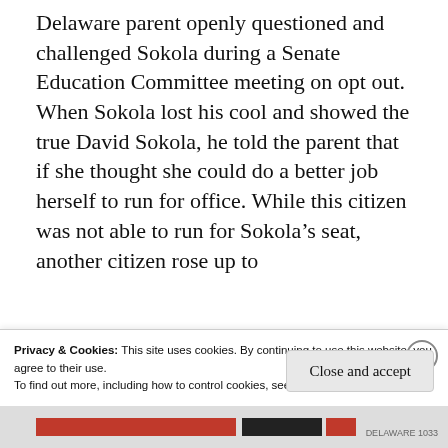Delaware parent openly questioned and challenged Sokola during a Senate Education Committee meeting on opt out.  When Sokola lost his cool and showed the true David Sokola, he told the parent that if she thought she could do a better job herself to run for office.  While this citizen was not able to run for Sokola’s seat, another citizen rose up to
Privacy & Cookies: This site uses cookies. By continuing to use this website, you agree to their use.
To find out more, including how to control cookies, see here: Cookie Policy
Close and accept